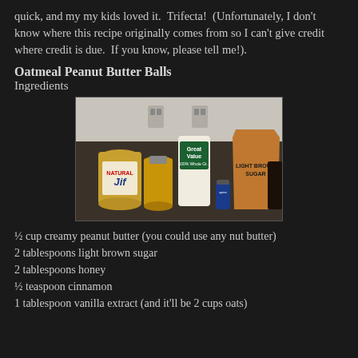quick, and my my kids loved it.  Trifecta!  (Unfortunately, I don't know where this recipe originally comes from so I can't give credit where credit is due.  If you know, please tell me!).
Oatmeal Peanut Butter Balls
Ingredients
[Figure (photo): Photo of ingredients on a dark countertop: Jif peanut butter jar, honey jar, Great Value 100% Whole Grain Oats container, small spice jar, and a bag of Light Brown Sugar]
½ cup creamy peanut butter (you could use any nut butter)
2 tablespoons light brown sugar
2 tablespoons honey
½ teaspoon cinnamon
1 tablespoon vanilla extract (and it'll be 2 cups oats)